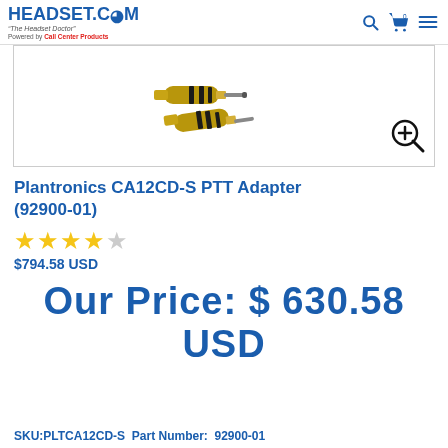HEADSET.COM - The Headset Doctor - Powered by Call Center Products
[Figure (photo): Product photo of Plantronics CA12CD-S PTT Adapter showing gold TRS audio connectors, with a zoom/magnify icon in the bottom right corner]
Plantronics CA12CD-S PTT Adapter (92900-01)
★★★★☆
$794.58 USD
Our Price: $ 630.58 USD
SKU:PLTCA12CD-S  Part Number:  92900-01